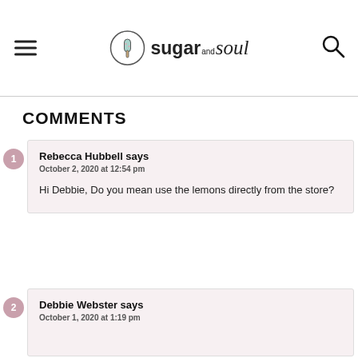sugar and soul
COMMENTS
Rebecca Hubbell says
October 2, 2020 at 12:54 pm
Hi Debbie, Do you mean use the lemons directly from the store?
Debbie Webster says
October 1, 2020 at 1:19 pm